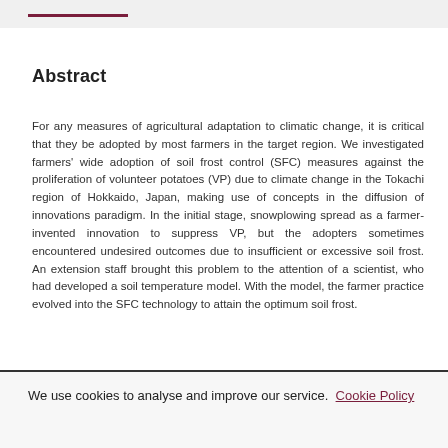Abstract
For any measures of agricultural adaptation to climatic change, it is critical that they be adopted by most farmers in the target region. We investigated farmers' wide adoption of soil frost control (SFC) measures against the proliferation of volunteer potatoes (VP) due to climate change in the Tokachi region of Hokkaido, Japan, making use of concepts in the diffusion of innovations paradigm. In the initial stage, snowplowing spread as a farmer-invented innovation to suppress VP, but the adopters sometimes encountered undesired outcomes due to insufficient or excessive soil frost. An extension staff brought this problem to the attention of a scientist, who had developed a soil temperature model. With the model, the farmer practice evolved into the SFC technology to attain the optimum soil frost.
We use cookies to analyse and improve our service. Cookie Policy